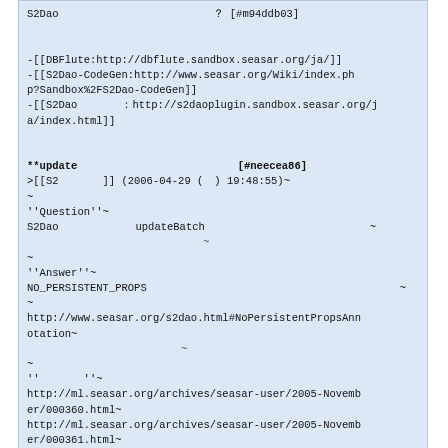S2Dao　　　　　　　　　　　　　　　　　　？ [#m94ddb03]

　　　　　　　　　　
-[[DBFlute:http://dbflute.sandbox.seasar.org/ja/]]
-[[S2Dao-CodeGen:http://www.seasar.org/Wiki/index.php?Sandbox%2FS2Dao-CodeGen]]
-[[S2Dao　　　　：http://s2daoplugin.sandbox.seasar.org/ja/index.html]]


**update　　　　　　　　　　　　　　 [#neecea86]
>[[S2　　　　]] (2006-04-29 (　) 19:48:55)~
~
''Question''~
S2Dao　　　　　　updateBatch　　　　　　　　　　　　　　　　~
　　　　　　　　　　　　　　　　~
~
''Answer''~
NO_PERSISTENT_PROPS　　　　　　　　　　　　　　　　　　　　　　　　　　~
~
http://www.seasar.org/s2dao.html#NoPersistentPropsAnnotation~
　　　　　　　　　　　　　　~
~
''　　　　''~
http://ml.seasar.org/archives/seasar-user/2005-November/000360.html~
http://ml.seasar.org/archives/seasar-user/2005-November/000361.html~